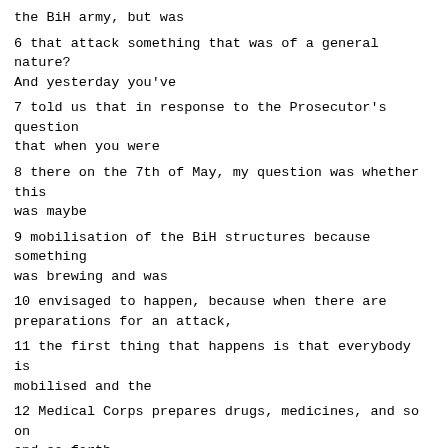the BiH army, but was
6 that attack something that was of a general nature? And yesterday you've
7 told us that in response to the Prosecutor's question that when you were
8 there on the 7th of May, my question was whether this was maybe
9 mobilisation of the BiH structures because something was brewing and was
10 envisaged to happen, because when there are preparations for an attack,
11 the first thing that happens is that everybody is mobilised and the
12 Medical Corps prepares drugs, medicines, and so on and so forth.
13 You have indicated to us that you were asked to stay put, and the
14 question is about the analgesics that were in place at the moment. My
15 question is very simple, and I'm not going to waste any more time to put